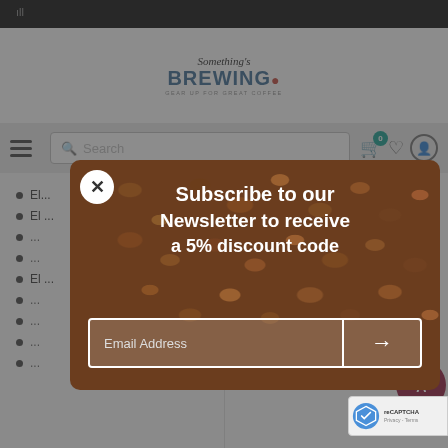[Figure (screenshot): Something's Brewing website header with logo, search bar, cart and account icons]
[Figure (infographic): Newsletter subscription modal overlay on coffee beans background. Text: 'Subscribe to our Newsletter to receive a 5% discount code' with Email Address input field and submit arrow button.]
El...
El...
...
...
El...
...
...
...
...
...
...
...
Urnex Café Wip...
Urnex Scoopz B...